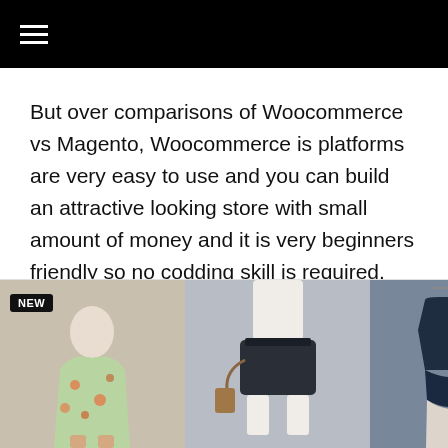≡ (hamburger menu navigation bar)
But over comparisons of Woocommerce vs Magento, Woocommerce is platforms are very easy to use and you can build an attractive looking store with small amount of money and it is very beginners friendly so no codding skill is required.
Woocommerce Vs Magento: SEO &
[Figure (photo): Advertisement banner showing three clothing product images: a floral dress (tagged NEW), dark shorts, and a dark blue blouse, with Berrylook brand logo and ad controls]